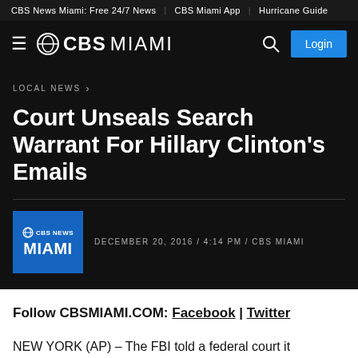CBS News Miami: Free 24/7 News | CBS Miami App | Hurricane Guide
[Figure (logo): CBS Miami logo with hamburger menu, CBS eye icon, search icon, and Login button on dark background]
LOCAL NEWS ›
Court Unseals Search Warrant For Hillary Clinton's Emails
DECEMBER 20, 2016 / 4:14 PM / CBS MIAMI
Follow CBSMIAMI.COM: Facebook | Twitter
NEW YORK (AP) – The FBI told a federal court it